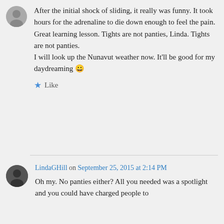After the initial shock of sliding, it really was funny. It took hours for the adrenaline to die down enough to feel the pain. Great learning lesson. Tights are not panties, Linda. Tights are not panties.
I will look up the Nunavut weather now. It'll be good for my daydreaming 😀
★ Like
LindaGHill on September 25, 2015 at 2:14 PM
Oh my. No panties either? All you needed was a spotlight and you could have charged people to